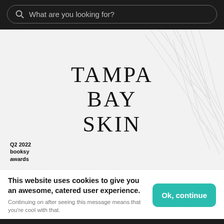What are you looking for?
[Figure (logo): Tampa Bay Skin logo with decorative palm leaf background on light grey. Text reads TAMPA BAY SKIN in large spaced serif letters. Bottom left has Q2 2022 booksy awards badge.]
This website uses cookies to give you an awesome, catered user experience.
Continuing on after seeing this message means that you're cool with that.
Ok, continue
Your Booksy   Explore   Appointments   Profile